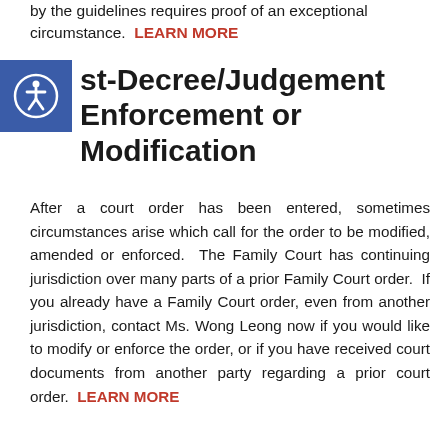by the guidelines requires proof of an exceptional circumstance.  LEARN MORE
[Figure (logo): Accessibility icon — white person in circle on blue square background]
Post-Decree/Judgement Enforcement or Modification
After a court order has been entered, sometimes circumstances arise which call for the order to be modified, amended or enforced.  The Family Court has continuing jurisdiction over many parts of a prior Family Court order.  If you already have a Family Court order, even from another jurisdiction, contact Ms. Wong Leong now if you would like to modify or enforce the order, or if you have received court documents from another party regarding a prior court order.  LEARN MORE